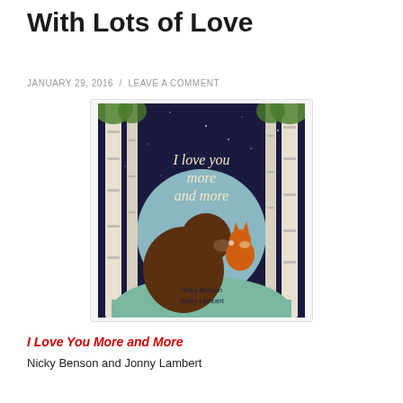With Lots of Love
JANUARY 29, 2016 / LEAVE A COMMENT
[Figure (photo): Book cover of 'I Love You More and More' by Nicky Benson and Jonny Lambert — showing a bear and fox touching noses under a large moon, surrounded by birch trees at night, with title text in decorative font]
I Love You More and More
Nicky Benson and Jonny Lambert